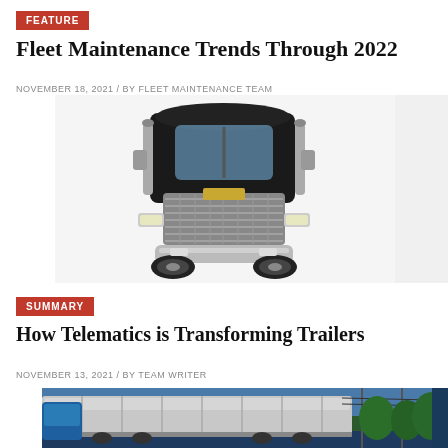FEATURE
Fleet Maintenance Trends Through 2022
NOVEMBER 18, 2021 / BY FLEET MAINTENANCE TEAM
[Figure (photo): Front view of a large black and chrome semi-truck on white background]
SUMMARY
How Telematics is Transforming Trailers
NOVEMBER 13, 2021 / BY TEAM WRITER
[Figure (photo): Side view of a silver tanker trailer outdoors with trees in background]